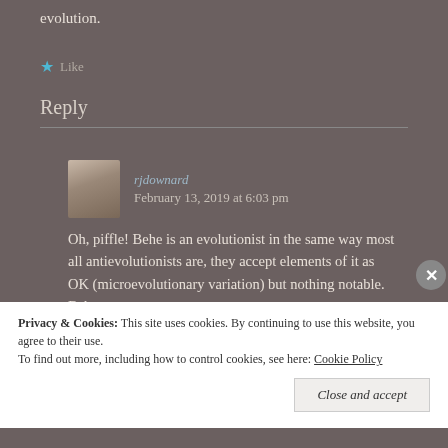evolution.
★ Like
Reply
rjdownard   February 13, 2019 at 6:03 pm
Oh, piffle! Behe is an evolutionist in the same way most all antievolutionists are, they accept elements of it as OK (microevolutionary variation) but nothing notable. Behe
Privacy & Cookies: This site uses cookies. By continuing to use this website, you agree to their use.
To find out more, including how to control cookies, see here: Cookie Policy
Close and accept